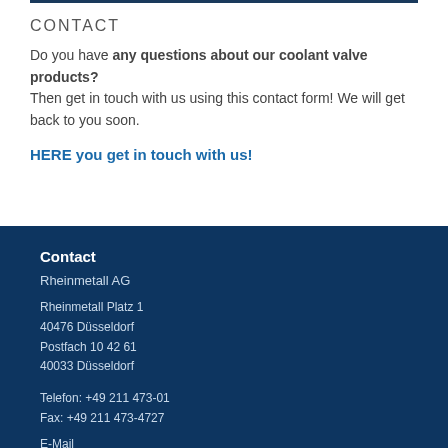CONTACT
Do you have any questions about our coolant valve products? Then get in touch with us using this contact form! We will get back to you soon.
HERE you get in touch with us!
Contact
Rheinmetall AG
Rheinmetall Platz 1
40476 Düsseldorf
Postfach 10 42 61
40033 Düsseldorf
Telefon: +49 211 473-01
Fax: +49 211 473-4727
E-Mail